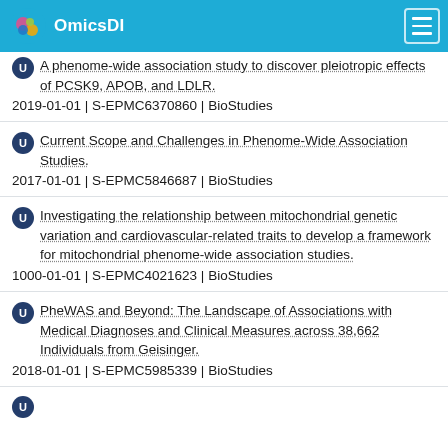OmicsDI
A phenome-wide association study to discover pleiotropic effects of PCSK9, APOB, and LDLR.
2019-01-01 | S-EPMC6370860 | BioStudies
Current Scope and Challenges in Phenome-Wide Association Studies.
2017-01-01 | S-EPMC5846687 | BioStudies
Investigating the relationship between mitochondrial genetic variation and cardiovascular-related traits to develop a framework for mitochondrial phenome-wide association studies.
1000-01-01 | S-EPMC4021623 | BioStudies
PheWAS and Beyond: The Landscape of Associations with Medical Diagnoses and Clinical Measures across 38,662 Individuals from Geisinger.
2018-01-01 | S-EPMC5985339 | BioStudies